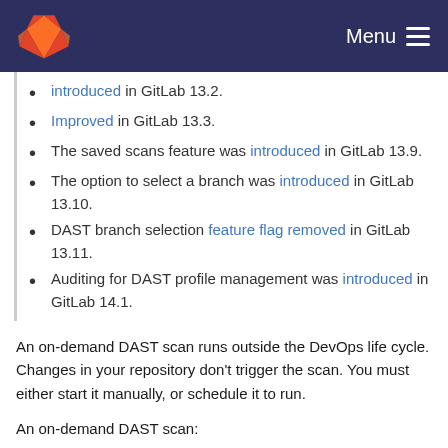GitLab — Menu
Introduced in GitLab 13.2.
Improved in GitLab 13.3.
The saved scans feature was introduced in GitLab 13.9.
The option to select a branch was introduced in GitLab 13.10.
DAST branch selection feature flag removed in GitLab 13.11.
Auditing for DAST profile management was introduced in GitLab 14.1.
An on-demand DAST scan runs outside the DevOps life cycle. Changes in your repository don't trigger the scan. You must either start it manually, or schedule it to run.
An on-demand DAST scan: